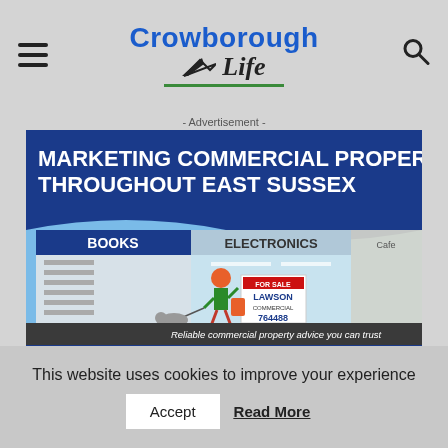Crowborough Life
- Advertisement -
[Figure (illustration): Lawson Commercial advertisement: 'Marketing Commercial Property Throughout East Sussex' showing illustrated shopfront with Books, Electronics stores and a person walking a dog carrying a Lawson for sale sign. Bottom section: 'Reliable commercial property advice you can trust', Lawson Commercial logo, 01825 764488, www.lawsoncommercial.co.uk]
This website uses cookies to improve your experience
Accept  Read More